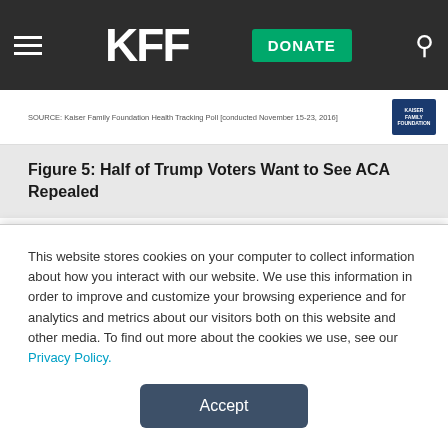KFF — DONATE
SOURCE: Kaiser Family Foundation Health Tracking Poll [conducted November 15-23, 2016]
Figure 5: Half of Trump Voters Want to See ACA Repealed
Republicans May Be Shifting Attitudes on ACA from Repeal to Scale Back
The November Kaiser Health Tracking Poll finds
This website stores cookies on your computer to collect information about how you interact with our website. We use this information in order to improve and customize your browsing experience and for analytics and metrics about our visitors both on this website and other media. To find out more about the cookies we use, see our Privacy Policy.
Accept